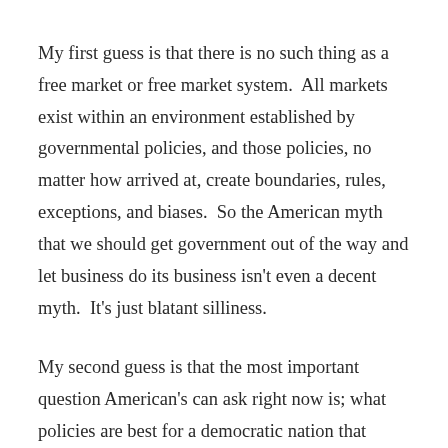My first guess is that there is no such thing as a free market or free market system.  All markets exist within an environment established by governmental policies, and those policies, no matter how arrived at, create boundaries, rules, exceptions, and biases.  So the American myth that we should get government out of the way and let business do its business isn't even a decent myth.  It's just blatant silliness.
My second guess is that the most important question American's can ask right now is; what policies are best for a democratic nation that values private enterprise and private initiative, and that must live and compete within a global economy?